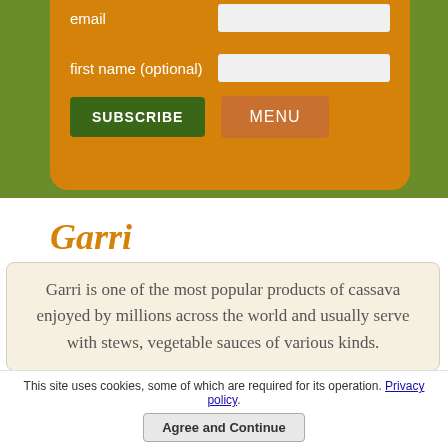[Figure (screenshot): Orange form card on green background with email label and input, first name (optional) label and input, SUBSCRIBE button (dark green), and MENU button (orange-brown)]
Garri
Garri is one of the most popular products of cassava enjoyed by millions across the world and usually serve with stews, vegetable sauces of various kinds.
This site uses cookies, some of which are required for its operation. Privacy policy.
Agree and Continue